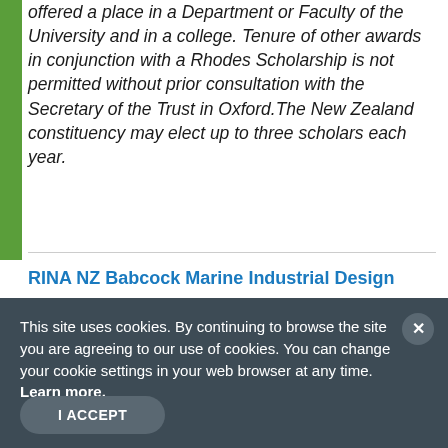offered a place in a Department or Faculty of the University and in a college. Tenure of other awards in conjunction with a Rhodes Scholarship is not permitted without prior consultation with the Secretary of the Trust in Oxford.The New Zealand constituency may elect up to three scholars each year.
RINA NZ Babcock Marine Industrial Design
This site uses cookies. By continuing to browse the site you are agreeing to our use of cookies. You can change your cookie settings in your web browser at any time. Learn more.